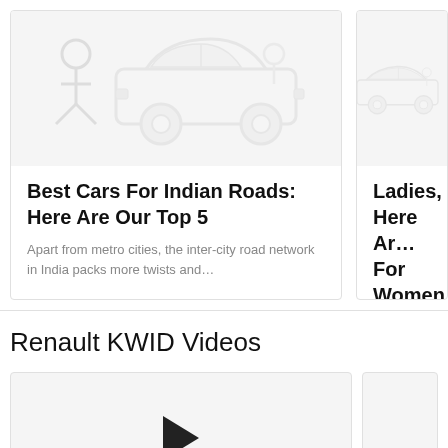[Figure (illustration): Placeholder car illustration on grey background for article card 1]
Best Cars For Indian Roads: Here Are Our Top 5
Apart from metro cities, the inter-city road network in India packs more twists and…
By Anonymous • Nov 12, 2020
[Figure (illustration): Placeholder car illustration on grey background for article card 2 (partially visible)]
Ladies, Here Ar… For Women In I…
For the longest time n… decisions in India ha…
By Anonymous • Nov…
Renault KWID Videos
[Figure (other): Video thumbnail placeholder with play button]
[Figure (other): Video thumbnail placeholder (partially visible, right side)]